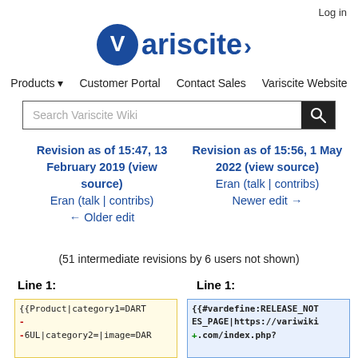Log in
[Figure (logo): Variscite logo with blue V symbol and blue arrow text]
Products ▾   Customer Portal   Contact Sales   Variscite Website
Search Variscite Wiki
Revision as of 15:47, 13 February 2019 (view source)
Eran (talk | contribs)
← Older edit
Revision as of 15:56, 1 May 2022 (view source)
Eran (talk | contribs)
Newer edit →
(51 intermediate revisions by 6 users not shown)
Line 1:
Line 1:
{{Product|category1=DART
-
-6UL|category2=|image=DAR
{{#vardefine:RELEASE_NOTES_PAGE|https://variwiki.com/index.php?